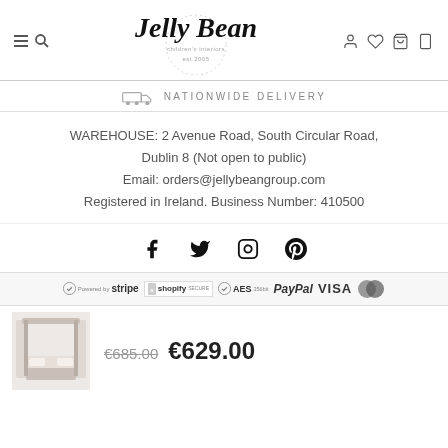Jelly Bean children's interiors est.2005 — navigation header
NATIONWIDE DELIVERY
WAREHOUSE: 2 Avenue Road, South Circular Road, Dublin 8 (Not open to public)
Email: orders@jellybeangroup.com
Registered in Ireland. Business Number: 410500
[Figure (infographic): Social media icons: Facebook, Twitter, Instagram, Pinterest]
[Figure (infographic): Payment badges: Stripe, Shopify Secure, AES 256bit, PayPal, VISA, Mastercard]
[Figure (photo): Product thumbnail: children's four-poster canopy bed]
€685.00  €629.00